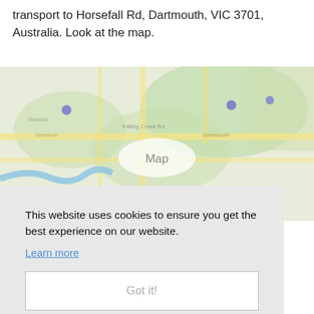transport to Horsefall Rd, Dartmouth, VIC 3701, Australia. Look at the map.
[Figure (map): Blurred Google Maps view of Dartmouth area, VIC 3701, Australia, with a circular 'Map' label in the center]
This website uses cookies to ensure you get the best experience on our website.
Learn more
Got it!